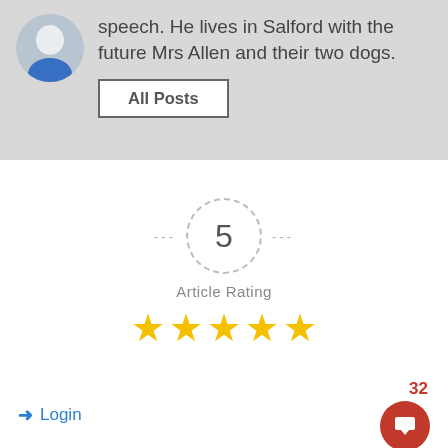speech. He lives in Salford with the future Mrs Allen and their two dogs.
All Posts
[Figure (infographic): Article rating display showing number 5 inside a dashed circle with dashes on either side and label 'Article Rating' below, followed by 5 gold stars]
Login
32
Please login to comment